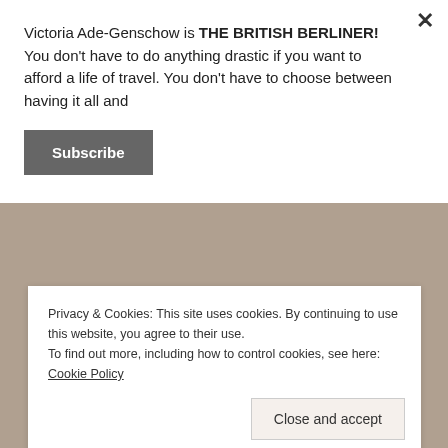Victoria Ade-Genschow is THE BRITISH BERLINER! You don't have to do anything drastic if you want to afford a life of travel. You don't have to choose between having it all and
Subscribe
[Figure (photo): A person crouching or bending down on sandy/earthy ground, shot in warm orange-red tones suggesting sunset or warm light.]
Privacy & Cookies: This site uses cookies. By continuing to use this website, you agree to their use.
To find out more, including how to control cookies, see here: Cookie Policy
Close and accept
Top Posts & Pages